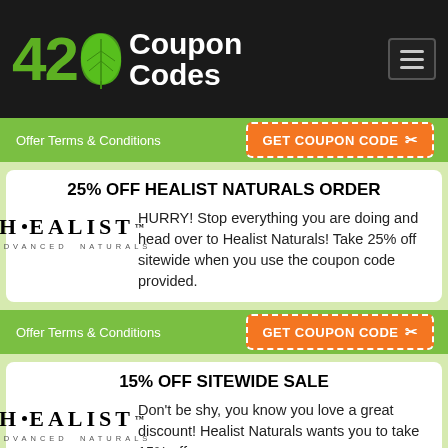[Figure (logo): 420 Coupon Codes logo with green cannabis leaf and white text on dark background]
Offer Terms & Conditions
GET COUPON CODE ✂
25% OFF HEALIST NATURALS ORDER
[Figure (logo): Healist Advanced Naturals logo]
HURRY! Stop everything you are doing and head over to Healist Naturals! Take 25% off sitewide when you use the coupon code provided.
Offer Terms & Conditions
GET COUPON CODE ✂
15% OFF SITEWIDE SALE
[Figure (logo): Healist Advanced Naturals logo]
Don't be shy, you know you love a great discount! Healist Naturals wants you to take 15% off your